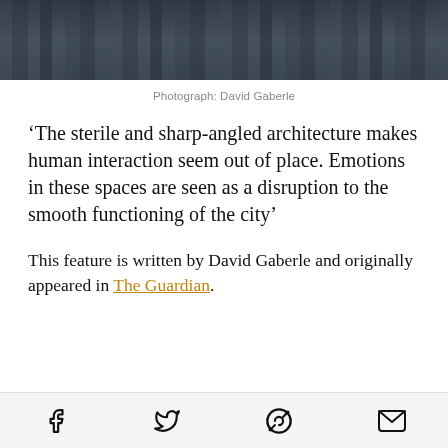[Figure (photo): Aerial cityscape photograph showing dense urban skyline with tall skyscrapers in dark moody tones]
Photograph: David Gaberle
‘The sterile and sharp-angled architecture makes human interaction seem out of place. Emotions in these spaces are seen as a disruption to the smooth functioning of the city’
This feature is written by David Gaberle and originally appeared in The Guardian.
Social share icons: Facebook, Twitter, Reddit, Email